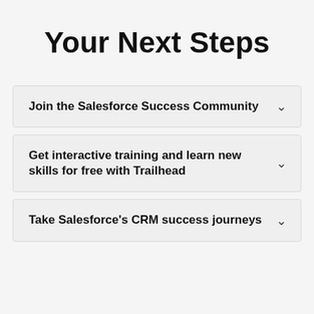Your Next Steps
Join the Salesforce Success Community
Get interactive training and learn new skills for free with Trailhead
Take Salesforce's CRM success journeys